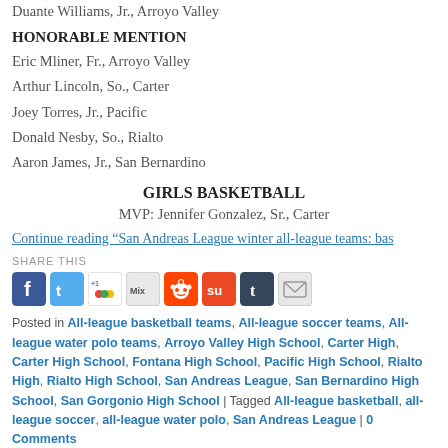Duante Williams, Jr., Arroyo Valley
HONORABLE MENTION
Eric Mliner, Fr., Arroyo Valley
Arthur Lincoln, So., Carter
Joey Torres, Jr., Pacific
Donald Nesby, So., Rialto
Aaron James, Jr., San Bernardino
GIRLS BASKETBALL
MVP: Jennifer Gonzalez, Sr., Carter
Continue reading “San Andreas League winter all-league teams: bas
SHARE THIS
[Figure (other): Social share icons: Facebook, Twitter, Google+1, Mix, Reddit, StumbleUpon, Tumblr, Email]
Posted in All-league basketball teams, All-league soccer teams, All-league water polo teams, Arroyo Valley High School, Carter High, Carter High School, Fontana High School, Pacific High School, Rialto High, Rialto High School, San Andreas League, San Bernardino High School, San Gorgonio High School | Tagged All-league basketball, all-league soccer, all-league water polo, San Andreas League | 0 Comments